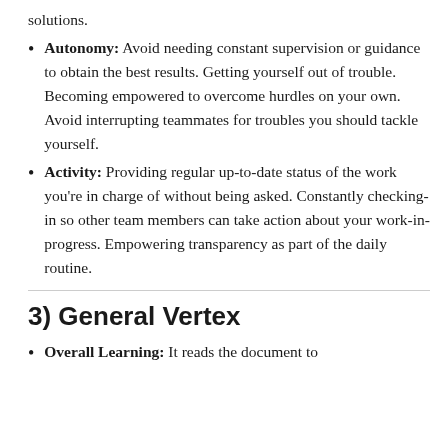solutions.
Autonomy: Avoid needing constant supervision or guidance to obtain the best results. Getting yourself out of trouble. Becoming empowered to overcome hurdles on your own. Avoid interrupting teammates for troubles you should tackle yourself.
Activity: Providing regular up-to-date status of the work you're in charge of without being asked. Constantly checking-in so other team members can take action about your work-in-progress. Empowering transparency as part of the daily routine.
3) General Vertex
Overall Learning: It reads the document to...